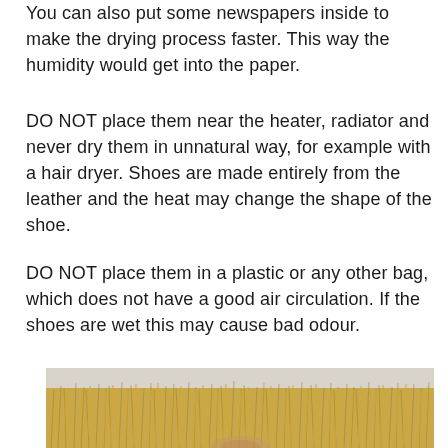You can also put some newspapers inside to make the drying process faster. This way the humidity would get into the paper.
DO NOT place them near the heater, radiator and never dry them in unnatural way, for example with a hair dryer. Shoes are made entirely from the leather and the heat may change the shape of the shoe.
DO NOT place them in a plastic or any other bag, which does not have a good air circulation. If the shoes are wet this may cause bad odour.
[Figure (photo): A photo showing dry golden grass/wheat field with what appears to be a person or object partially visible at the bottom center.]